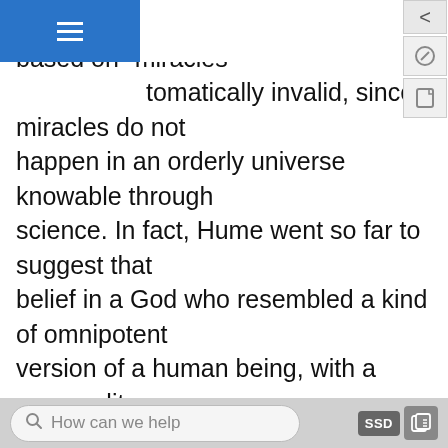ition. To him, any religion based on 'miracles' automatically invalid, since miracles do not happen in an orderly universe knowable through science. In fact, Hume went so far to suggest that belief in a God who resembled a kind of omnipotent version of a human being, with a personality, intentions, and emotions, was simply an expression of primitive ignorance and fear early in human history, as people sought an explanation for a bewildering universe.
Hume also expressed enormous contempt for the common people, who were ignorant and susceptible to superstition. Hume is important to consider because he embodied one of the characteristics of the Enlightenment that often seems the most surprising
How can we help